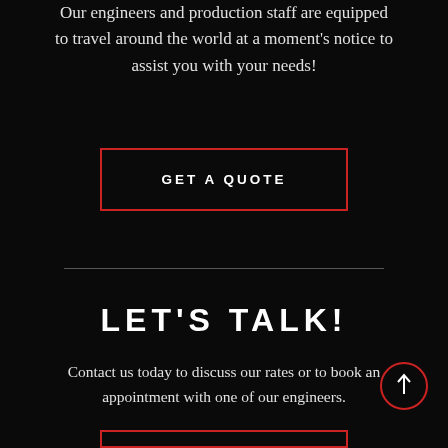Our engineers and production staff are equipped to travel around the world at a moment's notice to assist you with your needs!
GET A QUOTE
LET'S TALK!
Contact us today to discuss our rates or to book an appointment with one of our engineers.